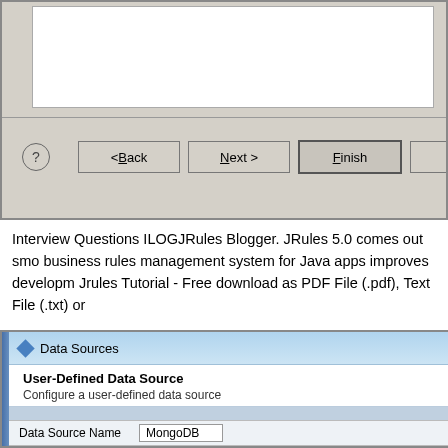[Figure (screenshot): Bottom portion of a wizard dialog with Back, Next, Finish, Cancel buttons on a gray background]
Interview Questions ILOGJRules Blogger. JRules 5.0 comes out smo business rules management system for Java apps improves developm Jrules Tutorial - Free download as PDF File (.pdf), Text File (.txt) or
[Figure (screenshot): Data Sources wizard dialog showing User-Defined Data Source configuration with Data Source Name field containing MongoDB and a JDBC Driver field partially visible]